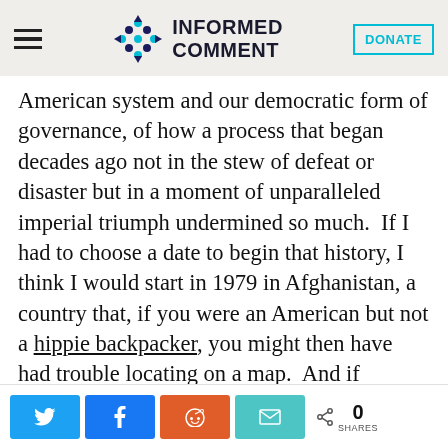Informed Comment
American system and our democratic form of governance, of how a process that began decades ago not in the stew of defeat or disaster but in a moment of unparalleled imperial triumph undermined so much.  If I had to choose a date to begin that history, I think I would start in 1979 in Afghanistan, a country that, if you were an American but not a hippie backpacker, you might then have had trouble locating on a map.  And if someone had told you at the time that, over